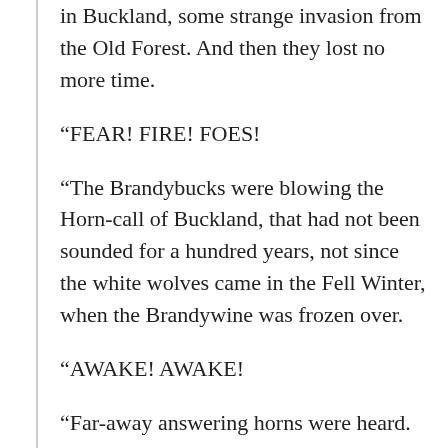in Buckland, some strange invasion from the Old Forest. And then they lost no more time.
“FEAR! FIRE! FOES!
“The Brandybucks were blowing the Horn-call of Buckland, that had not been sounded for a hundred years, not since the white wolves came in the Fell Winter, when the Brandywine was frozen over.
“AWAKE! AWAKE!
“Far-away answering horns were heard.